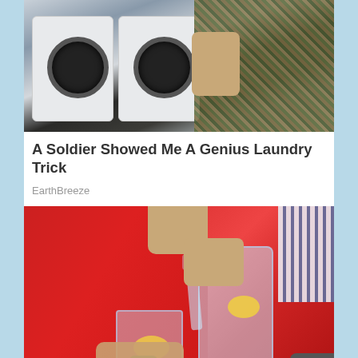[Figure (photo): Photo of a person in military camouflage uniform standing next to white front-loading washing machines]
A Soldier Showed Me A Genius Laundry Trick
EarthBreeze
[Figure (photo): Person in a red sweater pouring water with lemon slices from a glass pitcher into a tall glass, with a striped shirt visible in the background]